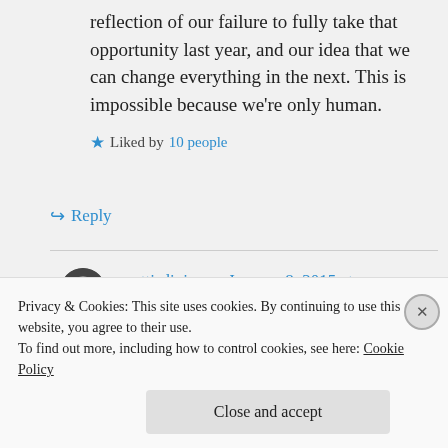reflection of our failure to fully take that opportunity last year, and our idea that we can change everything in the next. This is impossible because we’re only human.
★ Liked by 10 people
↪ Reply
mattisdivine on January 8, 2015 at 7:37 am
Privacy & Cookies: This site uses cookies. By continuing to use this website, you agree to their use.
To find out more, including how to control cookies, see here: Cookie Policy
Close and accept